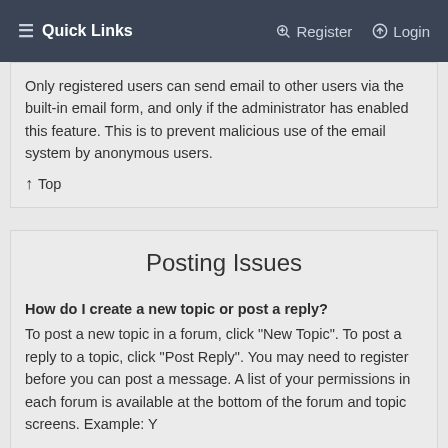☰ Quick Links    Register    Login
Only registered users can send email to other users via the built-in email form, and only if the administrator has enabled this feature. This is to prevent malicious use of the email system by anonymous users.
↑ Top
Posting Issues
How do I create a new topic or post a reply?
To post a new topic in a forum, click "New Topic". To post a reply to a topic, click "Post Reply". You may need to register before you can post a message. A list of your permissions in each forum is available at the bottom of the forum and topic screens. Example: Y